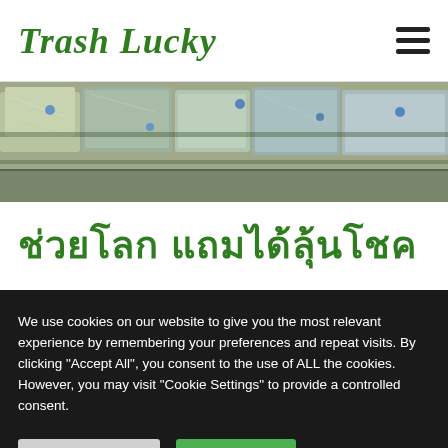Trash Lucky
[Figure (photo): Close-up photo of compressed/baled plastic bottles and waste materials, showing recycled plastic debris in blue and silver tones.]
ช่วยโลก แถมได้ลุ้นโชค
We use cookies on our website to give you the most relevant experience by remembering your preferences and repeat visits. By clicking "Accept All", you consent to the use of ALL the cookies. However, you may visit "Cookie Settings" to provide a controlled consent.
Cookie Settings | Accept All